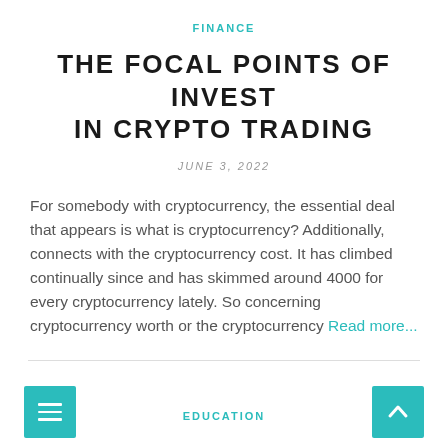FINANCE
THE FOCAL POINTS OF INVEST IN CRYPTO TRADING
JUNE 3, 2022
For somebody with cryptocurrency, the essential deal that appears is what is cryptocurrency? Additionally, connects with the cryptocurrency cost. It has climbed continually since and has skimmed around 4000 for every cryptocurrency lately. So concerning cryptocurrency worth or the cryptocurrency Read more...
EDUCATION